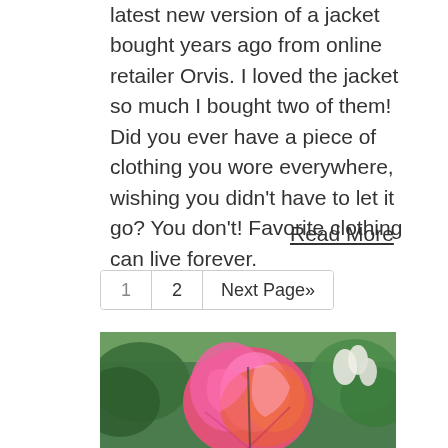latest new version of a jacket bought years ago from online retailer Orvis. I loved the jacket so much I bought two of them! Did you ever have a piece of clothing you wore everywhere, wishing you didn't have to let it go? You don't! Favorite clothing can live forever.
Read More
1  2  Next Page»
[Figure (photo): A person wearing a bright pink and orange flowing jacket or garment, photographed outdoors in a garden setting with green shrubs and white flowers in the background.]